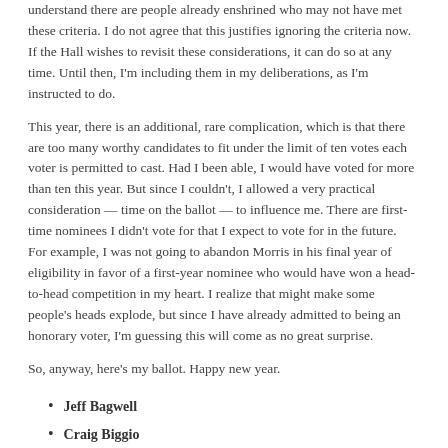understand there are people already enshrined who may not have met these criteria. I do not agree that this justifies ignoring the criteria now. If the Hall wishes to revisit these considerations, it can do so at any time. Until then, I'm including them in my deliberations, as I'm instructed to do.
This year, there is an additional, rare complication, which is that there are too many worthy candidates to fit under the limit of ten votes each voter is permitted to cast. Had I been able, I would have voted for more than ten this year. But since I couldn't, I allowed a very practical consideration — time on the ballot — to influence me. There are first-time nominees I didn't vote for that I expect to vote for in the future. For example, I was not going to abandon Morris in his final year of eligibility in favor of a first-year nominee who would have won a head-to-head competition in my heart. I realize that might make some people's heads explode, but since I have already admitted to being an honorary voter, I'm guessing this will come as no great surprise.
So, anyway, here's my ballot. Happy new year.
Jeff Bagwell
Craig Biggio
Tom Glavine
Greg Maddux
Edgar Martinez
Jack Morris
Mike Piazza
Tim Raines